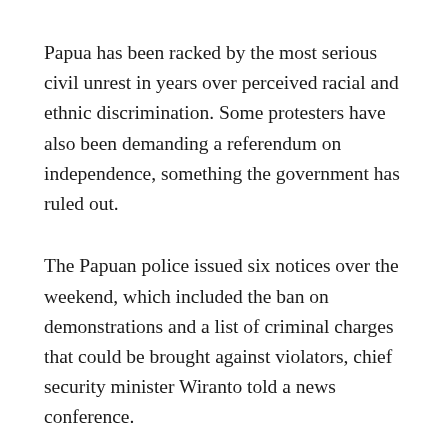Papua has been racked by the most serious civil unrest in years over perceived racial and ethnic discrimination. Some protesters have also been demanding a referendum on independence, something the government has ruled out.
The Papuan police issued six notices over the weekend, which included the ban on demonstrations and a list of criminal charges that could be brought against violators, chief security minister Wiranto told a news conference.
“Any person or organization is prohibited from carrying out or spreading separatism in expressing opinions in public and violation of this will result in